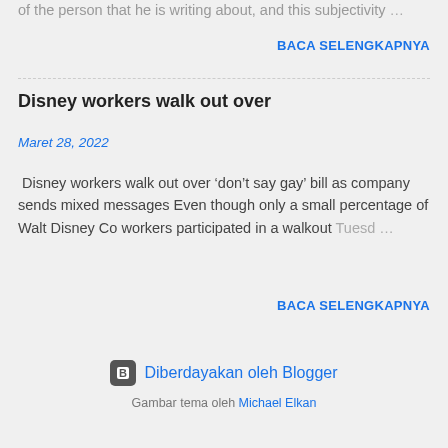of the person that he is writing about, and this subjectivity …
BACA SELENGKAPNYA
Disney workers walk out over
Maret 28, 2022
Disney workers walk out over 'don't say gay' bill as company sends mixed messages Even though only a small percentage of Walt Disney Co workers participated in a walkout Tuesd…
BACA SELENGKAPNYA
Diberdayakan oleh Blogger
Gambar tema oleh Michael Elkan